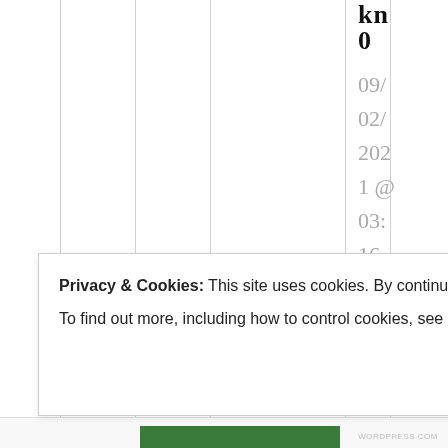kn
0
09/
02/
2021 @
03:
16
at
03:
16
Apropos
Privacy & Cookies: This site uses cookies. By continuing to use this website, you agree to their use.
To find out more, including how to control cookies, see here: Cookie Policy
Close and accept